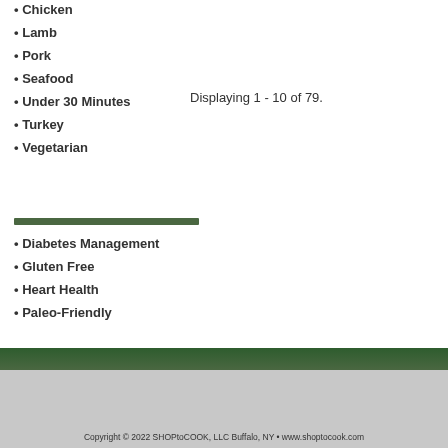• Chicken
• Lamb
Displaying 1 - 10 of 79.
• Pork
• Seafood
• Under 30 Minutes
• Turkey
• Vegetarian
• Diabetes Management
• Gluten Free
• Heart Health
• Paleo-Friendly
Copyright © 2022 SHOPtoCOOK, LLC Buffalo, NY • www.shoptocook.com